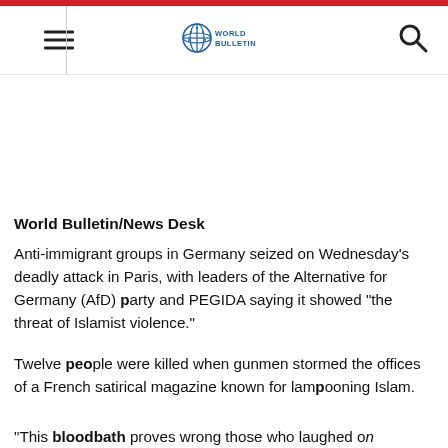[Figure (logo): World Bulletin logo with globe icon and text]
World Bulletin/News Desk
Anti-immigrant groups in Germany seized on Wednesday's deadly attack in Paris, with leaders of the Alternative for Germany (AfD) party and PEGIDA saying it showed "the threat of Islamist violence."
Twelve people were killed when gunmen stormed the offices of a French satirical magazine known for lampooning Islam.
"This bloodbath proves wrong those who laughed at...